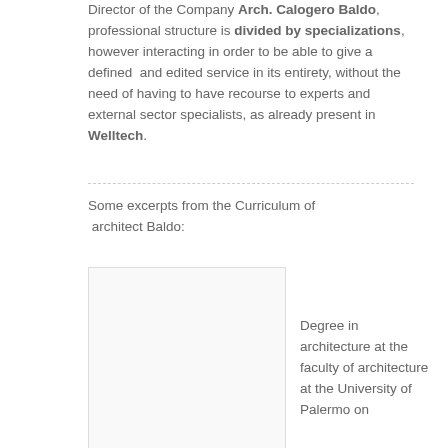Director of the Company Arch. Calogero Baldo, professional structure is divided by specializations, however interacting in order to be able to give a defined and edited service in its entirety, without the need of having to have recourse to experts and external sector specialists, as already present in Welltech.
Some excerpts from the Curriculum of architect Baldo:
[Figure (photo): Photograph of architect Baldo (white/light background portrait)]
Degree in architecture at the faculty of architecture at the University of Palermo on